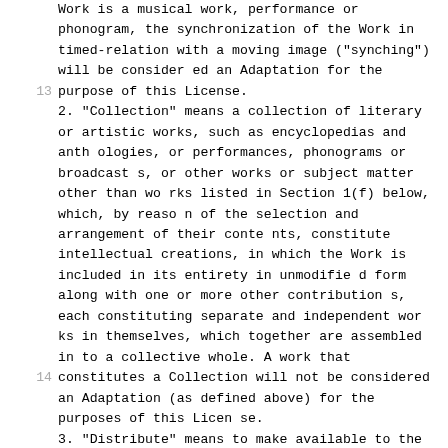Work is a musical work, performance or phonogram, the synchronization of the Work in timed-relation with a moving image ("synching") will be considered an Adaptation for the purpose of this License.
2. "Collection" means a collection of literary or artistic works, such as encyclopedias and anthologies, or performances, phonograms or broadcasts, or other works or subject matter other than works listed in Section 1(f) below, which, by reason of the selection and arrangement of their contents, constitute intellectual creations, in which the Work is included in its entirety in unmodified form along with one or more other contributions, each constituting separate and independent works in themselves, which together are assembled into a collective whole. A work that constitutes a Collection will not be considered an Adaptation (as defined above) for the purposes of this License.
3. "Distribute" means to make available to the public the original and copies of the Work or Adaptation, as appropriate, through sale or other transfer of ownership.